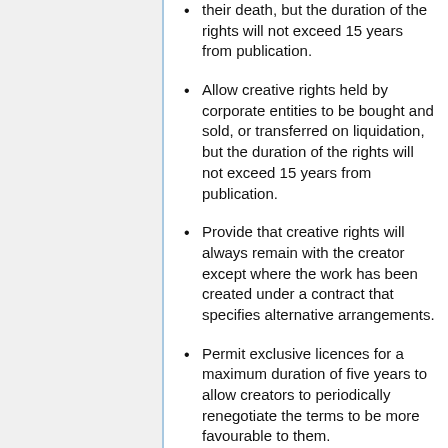their death, but the duration of the rights will not exceed 15 years from publication.
Allow creative rights held by corporate entities to be bought and sold, or transferred on liquidation, but the duration of the rights will not exceed 15 years from publication.
Provide that creative rights will always remain with the creator except where the work has been created under a contract that specifies alternative arrangements.
Permit exclusive licences for a maximum duration of five years to allow creators to periodically renegotiate the terms to be more favourable to them.
Afford no protection for materials produced by or as a function of government, as they belong to the